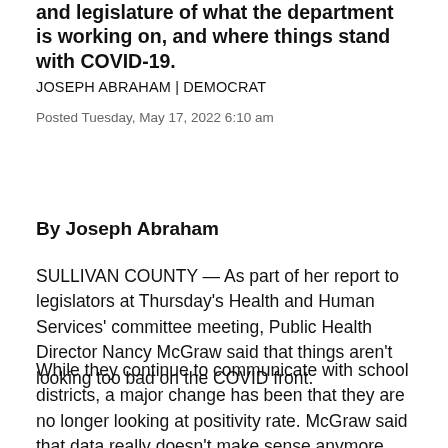and legislature of what the department is working on, and where things stand with COVID-19.
JOSEPH ABRAHAM | DEMOCRAT
Posted Tuesday, May 17, 2022 6:10 am
By Joseph Abraham
SULLIVAN COUNTY — As part of her report to legislators at Thursday's Health and Human Services' committee meeting, Public Health Director Nancy McGraw said that things aren't looking too bad on the COVID front.
While they continue to communicate with school districts, a major change has been that they are no longer looking at positivity rate. McGraw said that data really doesn't make sense anymore, due to over-the-counter tests and under reporting.